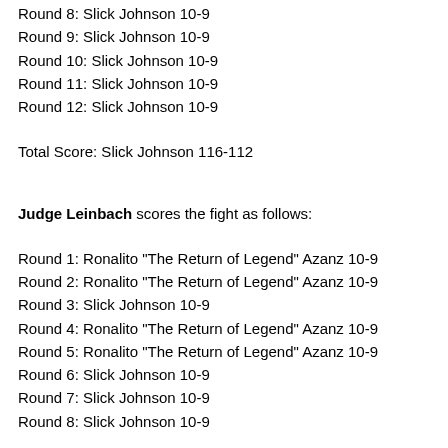Round 8: Slick Johnson 10-9
Round 9: Slick Johnson 10-9
Round 10: Slick Johnson 10-9
Round 11: Slick Johnson 10-9
Round 12: Slick Johnson 10-9
Total Score: Slick Johnson 116-112
Judge Leinbach scores the fight as follows:
Round 1: Ronalito "The Return of Legend" Azanz 10-9
Round 2: Ronalito "The Return of Legend" Azanz 10-9
Round 3: Slick Johnson 10-9
Round 4: Ronalito "The Return of Legend" Azanz 10-9
Round 5: Ronalito "The Return of Legend" Azanz 10-9
Round 6: Slick Johnson 10-9
Round 7: Slick Johnson 10-9
Round 8: Slick Johnson 10-9